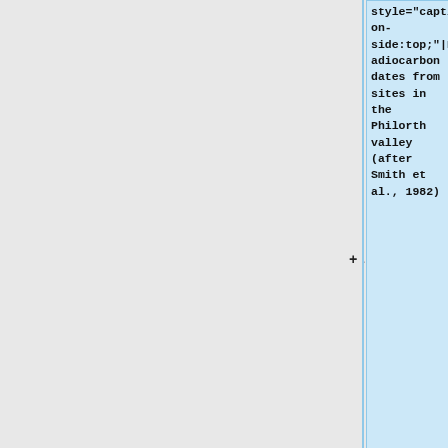style="caption-side:top;"|Radiocarbon dates from sites in the Philorth valley (after Smith et al., 1982)
|-
! Location||Details of sample||Altitude (metres OD) of sample at contact